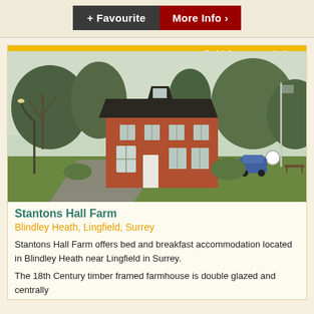+ Favourite   More Info >
[Figure (photo): Exterior photo of Stantons Hall Farm, a red brick 18th century farmhouse with surrounding gardens and driveway, with a flagpole on the right.]
Gold Accommodation
Stantons Hall Farm
Blindley Heath, Lingfield, Surrey
Stantons Hall Farm offers bed and breakfast accommodation located in Blindley Heath near Lingfield in Surrey.
The 18th Century timber framed farmhouse is double glazed and centrally